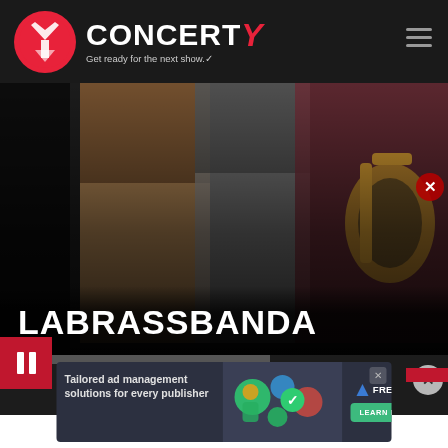[Figure (logo): Concerty logo with red circle icon and tagline 'Get ready for the next show']
[Figure (photo): Hero image of band members (LaBrassBanda) in dark setting, one holding a brass instrument]
LABRASSBANDA
[Figure (infographic): Pause/play controls with red block and gray progress bar]
[Figure (screenshot): Ad banner: Tailored ad management solutions for every publisher - Freestarcapital Learn More]